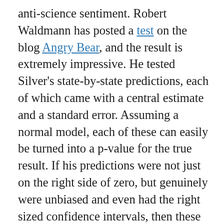anti-science sentiment. Robert Waldmann has posted a test on the blog Angry Bear, and the result is extremely impressive. He tested Silver's state-by-state predictions, each of which came with a central estimate and a standard error. Assuming a normal model, each of these can easily be turned into a p-value for the true result. If his predictions were not just on the right side of zero, but genuinely were unbiased and even had the right sized confidence intervals, then these p-values should be like 50 samples from a uniform distribution on (0,1) (not independent though). So if you put the 50 p-values in order and plot them, they should line up approximately on a straight diagonal on the unit square. And that's